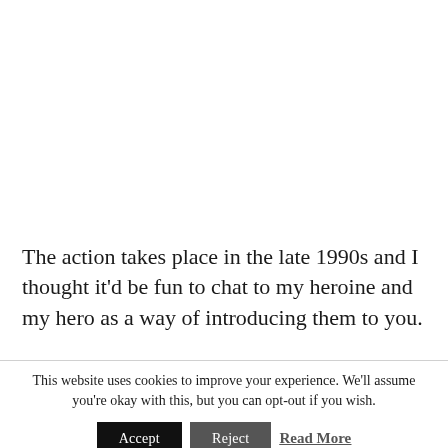The action takes place in the late 1990s and I thought it'd be fun to chat to my heroine and my hero as a way of introducing them to you.
This website uses cookies to improve your experience. We'll assume you're okay with this, but you can opt-out if you wish.
Accept   Reject   Read More